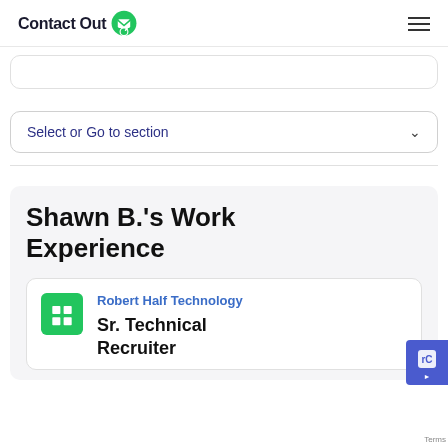ContactOut
Select or Go to section
Shawn B.'s Work Experience
Robert Half Technology
Sr. Technical Recruiter